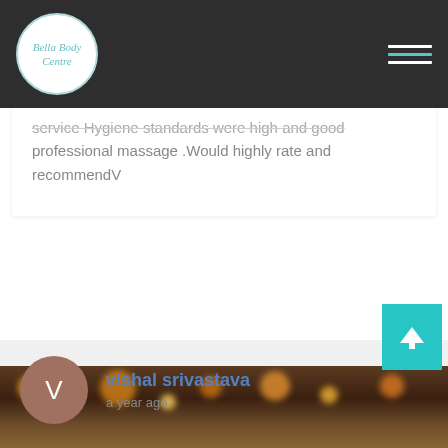Bella Body Centre
service Hygiene standards were high and good professional massage .Would highly rate and recommendV
vishal srivastava
a year ago
[Figure (photo): Dark blurred photo background with bokeh lights, warm amber/brown tones]